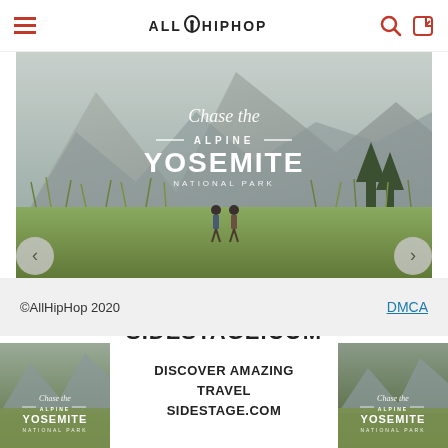ALLHIPHOP
[Figure (photo): Yosemite National Park travel advertisement showing mountain scenery with two hikers in a meadow, with text overlaid: 'Chase the Alpine YOSEMITE NATIONAL PARK']
DISCOVER AMAZING TRAVEL SIDESTAGE.COM
©AllHipHop 2020    DMCA
[Figure (photo): Bottom advertisement banner showing Yosemite scenery on left, text 'DISCOVER AMAZING TRAVEL SIDESTAGE.COM' in center, and Yosemite scenery on right]